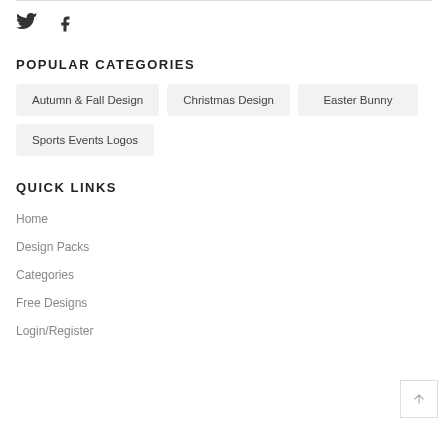[Figure (other): Social media icons: Twitter bird and Facebook F]
POPULAR CATEGORIES
Autumn & Fall Design
Christmas Design
Easter Bunny
Sports Events Logos
QUICK LINKS
Home
Design Packs
Categories
Free Designs
Login/Register